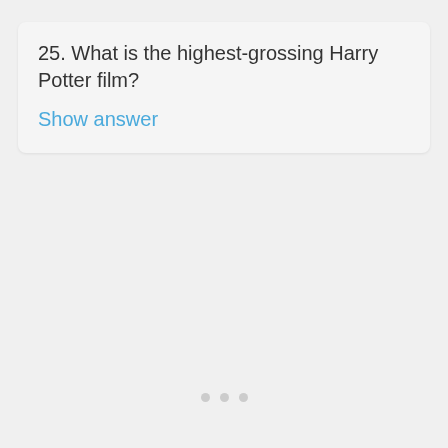25. What is the highest-grossing Harry Potter film?
Show answer